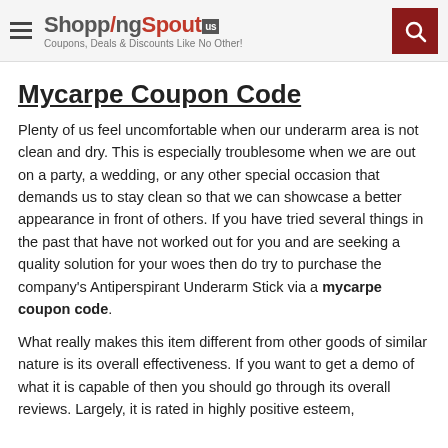ShoppingSpout.us — Coupons, Deals & Discounts Like No Other!
Mycarpe Coupon Code
Plenty of us feel uncomfortable when our underarm area is not clean and dry. This is especially troublesome when we are out on a party, a wedding, or any other special occasion that demands us to stay clean so that we can showcase a better appearance in front of others. If you have tried several things in the past that have not worked out for you and are seeking a quality solution for your woes then do try to purchase the company's Antiperspirant Underarm Stick via a mycarpe coupon code.
What really makes this item different from other goods of similar nature is its overall effectiveness. If you want to get a demo of what it is capable of then you should go through its overall reviews. Largely, it is rated in highly positive esteem,